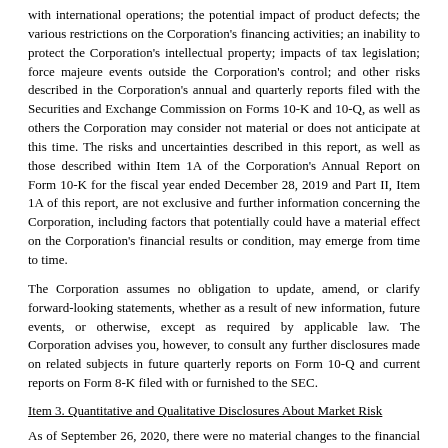with international operations; the potential impact of product defects; the various restrictions on the Corporation's financing activities; an inability to protect the Corporation's intellectual property; impacts of tax legislation; force majeure events outside the Corporation's control; and other risks described in the Corporation's annual and quarterly reports filed with the Securities and Exchange Commission on Forms 10-K and 10-Q, as well as others the Corporation may consider not material or does not anticipate at this time. The risks and uncertainties described in this report, as well as those described within Item 1A of the Corporation's Annual Report on Form 10-K for the fiscal year ended December 28, 2019 and Part II, Item 1A of this report, are not exclusive and further information concerning the Corporation, including factors that potentially could have a material effect on the Corporation's financial results or condition, may emerge from time to time.
The Corporation assumes no obligation to update, amend, or clarify forward-looking statements, whether as a result of new information, future events, or otherwise, except as required by applicable law. The Corporation advises you, however, to consult any further disclosures made on related subjects in future quarterly reports on Form 10-Q and current reports on Form 8-K filed with or furnished to the SEC.
Item 3. Quantitative and Qualitative Disclosures About Market Risk
As of September 26, 2020, there were no material changes to the financial market risks affecting the quantitative and qualitative disclosures presented in Item 7A of the Corporation's Annual Report on Form 10-K for the fiscal year ended December 28, 2019.